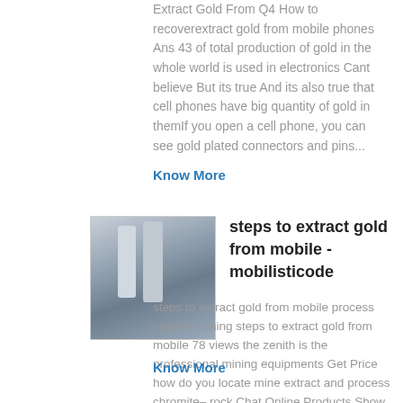Extract Gold From Q4 How to recoverextract gold from mobile phones Ans 43 of total production of gold in the whole world is used in electronics Cant believe But its true And its also true that cell phones have big quantity of gold in themIf you open a cell phone, you can see gold plated connectors and pins...
Know More
[Figure (photo): Industrial mining equipment with silos or processing towers]
steps to extract gold from mobile - mobilisticode
steps to extract gold from mobile process crusher mining steps to extract gold from mobile 78 views the zenith is the professional mining equipments Get Price how do you locate mine extract and process chromite– rock Chat Online Products Show How to Extract Gold From Electronics 11 Steps ,...
Know More